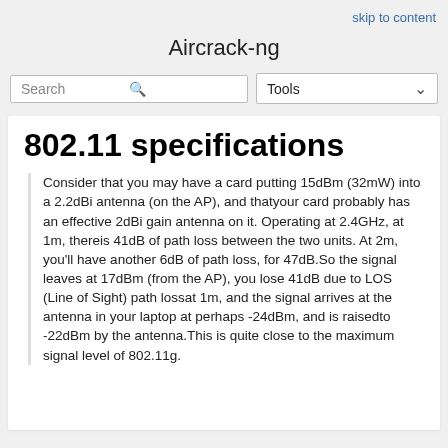skip to content
Aircrack-ng
Search
Tools
802.11 specifications
Consider that you may have a card putting 15dBm (32mW) into a 2.2dBi antenna (on the AP), and thatyour card probably has an effective 2dBi gain antenna on it. Operating at 2.4GHz, at 1m, thereis 41dB of path loss between the two units. At 2m, you'll have another 6dB of path loss, for 47dB.So the signal leaves at 17dBm (from the AP), you lose 41dB due to LOS (Line of Sight) path lossat 1m, and the signal arrives at the antenna in your laptop at perhaps -24dBm, and is raisedto -22dBm by the antenna.This is quite close to the maximum signal level of 802.11g.